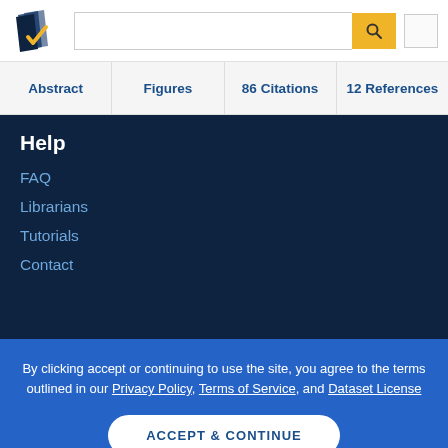[Figure (logo): Semantic Scholar logo - stylized book pages icon in navy and gold with checkmark]
Abstract | Figures | 86 Citations | 12 References
Help
FAQ
Librarians
Tutorials
Contact
By clicking accept or continuing to use the site, you agree to the terms outlined in our Privacy Policy, Terms of Service, and Dataset License
ACCEPT & CONTINUE